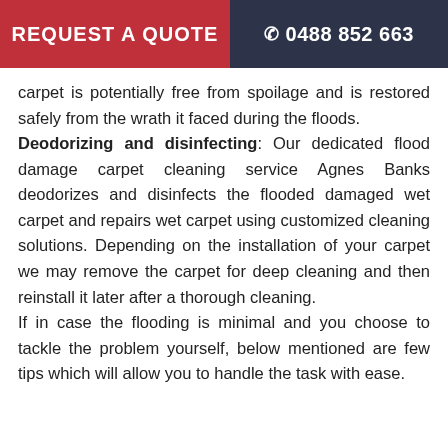REQUEST A QUOTE  ☎ 0488 852 663
carpet is potentially free from spoilage and is restored safely from the wrath it faced during the floods.
Deodorizing and disinfecting: Our dedicated flood damage carpet cleaning service Agnes Banks deodorizes and disinfects the flooded damaged wet carpet and repairs wet carpet using customized cleaning solutions. Depending on the installation of your carpet we may remove the carpet for deep cleaning and then reinstall it later after a thorough cleaning.
If in case the flooding is minimal and you choose to tackle the problem yourself, below mentioned are few tips which will allow you to handle the task with ease.